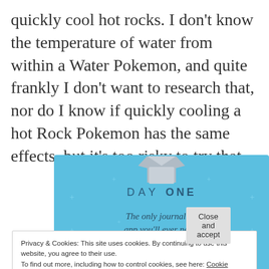quickly cool hot rocks. I don't know the temperature of water from within a Water Pokemon, and quite frankly I don't want to research that, nor do I know if quickly cooling a hot Rock Pokemon has the same effects, but it's too risky to try that.
[Figure (illustration): Advertisement for Day One journaling app on a light blue background with small decorative stars/plus signs. Shows a t-shirt icon at the top, text 'DAY ONE' in spaced letters, and tagline 'The only journaling app you'll ever need.']
Privacy & Cookies: This site uses cookies. By continuing to use this website, you agree to their use.
To find out more, including how to control cookies, see here: Cookie Policy